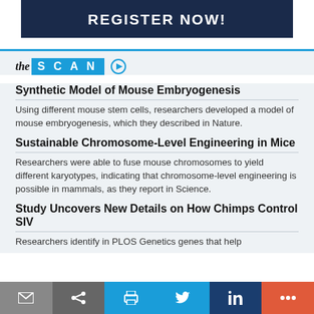REGISTER NOW!
[Figure (logo): The Scan logo with italic 'the' and blue background 'SCAN' label and play button icon]
Synthetic Model of Mouse Embryogenesis
Using different mouse stem cells, researchers developed a model of mouse embryogenesis, which they described in Nature.
Sustainable Chromosome-Level Engineering in Mice
Researchers were able to fuse mouse chromosomes to yield different karyotypes, indicating that chromosome-level engineering is possible in mammals, as they report in Science.
Study Uncovers New Details on How Chimps Control SIV
Researchers identify in PLOS Genetics genes that help
Email | Share | Print | Twitter | LinkedIn | More